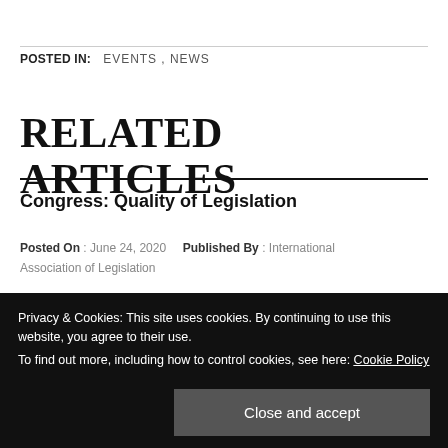POSTED IN:  EVENTS , NEWS
RELATED ARTICLES
Congress: Quality of Legislation
Posted On : June 24, 2020    Published By : International Association of Legislation
Privacy & Cookies: This site uses cookies. By continuing to use this website, you agree to their use.
To find out more, including how to control cookies, see here: Cookie Policy
Close and accept